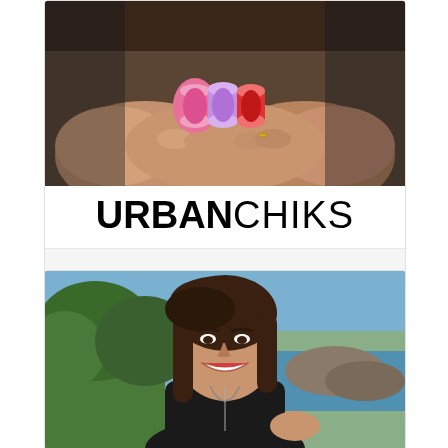[Figure (photo): Hands holding colorful thread spools (pink, lavender, red) with Urban Chiks logo below]
Urban Chiks
[Figure (photo): Smiling woman with dark brown shoulder-length hair wearing a black top with a long necklace, standing outdoors with trees and rocky coastline in background]